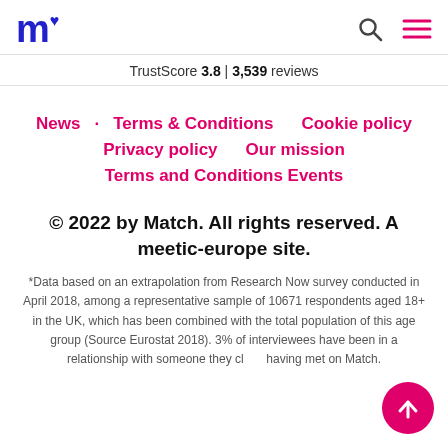m♥ [Match logo] | Search icon | Menu icon
TrustScore 3.8 | 3,539 reviews
News · Terms & Conditions   Cookie policy
Privacy policy   Our mission
Terms and Conditions Events
© 2022 by Match. All rights reserved. A meetic-europe site.
*Data based on an extrapolation from Research Now survey conducted in April 2018, among a representative sample of 10671 respondents aged 18+ in the UK, which has been combined with the total population of this age group (Source Eurostat 2018). 3% of interviewees have been in a relationship with someone they claim having met on Match.